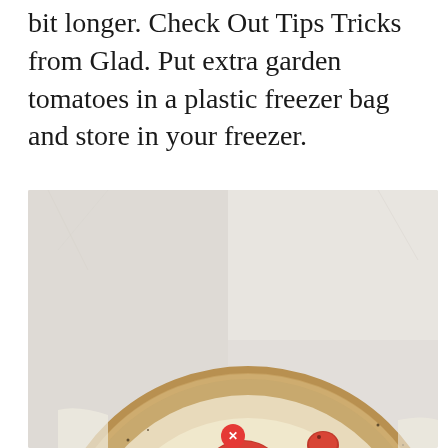bit longer. Check Out Tips Tricks from Glad. Put extra garden tomatoes in a plastic freezer bag and store in your freezer.
[Figure (photo): Overhead photo of a round flatbread pizza topped with roasted cherry tomatoes, a large whole roasted tomato in the center, fresh herbs including parsley and thyme, and melted white cheese on a light gray background. A small red X close button appears at the bottom center of the image.]